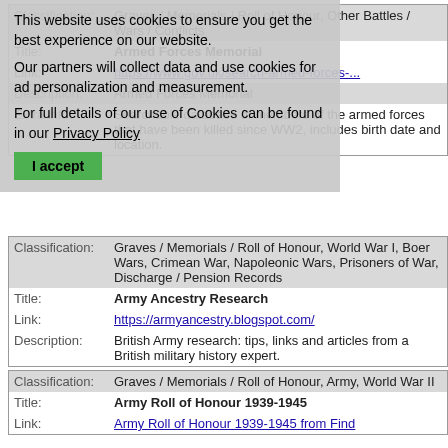| Classification: | Graves / Memorials / Roll of Honour, Other Battles / Wars / Conflicts |
| Title: | Armed Forces Memorial |
| Link: | https://www.gov.uk/search-armed-forces-... |
| Description: | Armed Forces Memorial |
| Extra info: | Searchable database of members of the armed forces that have been killed since WW2, includes birth date and location. |
This website uses cookies to ensure you get the best experience on our website. Our partners will collect data and use cookies for ad personalization and measurement. For full details of our use of Cookies can be found in our Privacy Policy
| Classification: | Graves / Memorials / Roll of Honour, World War I, Boer Wars, Crimean War, Napoleonic Wars, Prisoners of War, Discharge / Pension Records |
| Title: | Army Ancestry Research |
| Link: | https://armyancestry.blogspot.com/ |
| Description: | British Army research: tips, links and articles from a British military history expert. |
| Classification: | Graves / Memorials / Roll of Honour, Army, World War II |
| Title: | Army Roll of Honour 1939-1945 |
| Link: | Army Roll of Honour 1939-1945 from Find... |